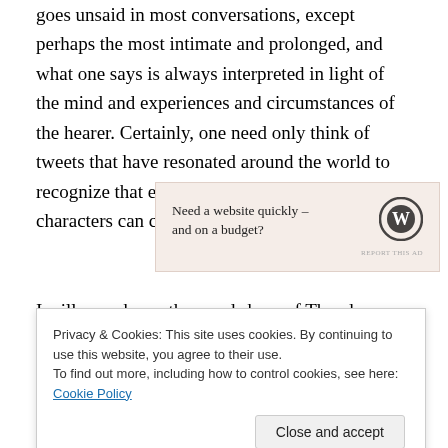goes unsaid in most conversations, except perhaps the most intimate and prolonged, and what one says is always interpreted in light of the mind and experiences and circumstances of the hearer. Certainly, one need only think of tweets that have resonated around the world to recognize that even one hundred and forty characters can change the world…
[Figure (other): WordPress advertisement banner: 'Need a website quickly – and on a budget?' with WordPress logo. Light beige/pink background.]
I will paraphrase the words here of Theodore Zeldin
Privacy & Cookies: This site uses cookies. By continuing to use this website, you agree to their use. To find out more, including how to control cookies, see here: Cookie Policy
resist the cynicism that is the hallmark of our culture. To